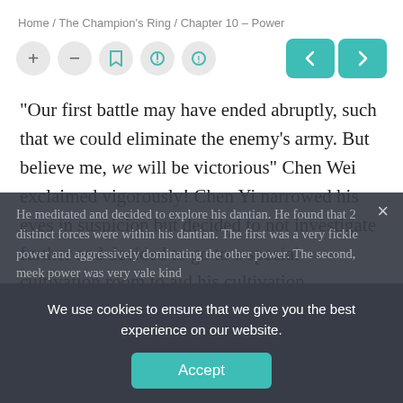Home / The Champion's Ring / Chapter 10 – Power
“Our first battle may have ended abruptly, such that we could eliminate the enemy’s army. But believe me, we will be victorious” Chen Wei exclaimed vigorously! Chen Yi narrowed his eyes in suspicion but decided to not investigate further and decided to go to a special cultivation room to aid his cultivation.
He meditated and decided to explore his dantian. He found that 2 distinct forces were within his dantian. The first was a very fickle power and aggressively dominating the other power. The second, meek power was very vale kind
We use cookies to ensure that we give you the best experience on our website.